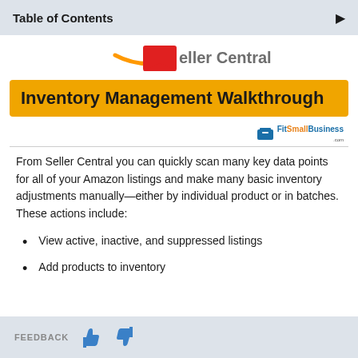Table of Contents
[Figure (logo): Amazon Seller Central logo (partially visible) — orange smile/arrow and red bookmark icon with text 'eller Central']
Inventory Management Walkthrough
[Figure (logo): FitSmallBusiness logo — blue briefcase icon with text 'FitSmallBusiness.com' and tagline 'Get Your Business Into Shape']
From Seller Central you can quickly scan many key data points for all of your Amazon listings and make many basic inventory adjustments manually—either by individual product or in batches. These actions include:
View active, inactive, and suppressed listings
Add products to inventory
FEEDBACK